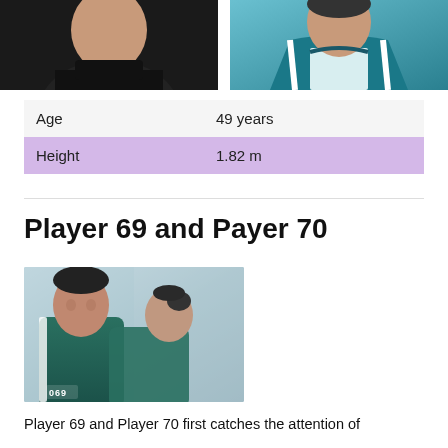[Figure (photo): Two side-by-side photos at top: left shows person in black turtleneck, right shows person in teal jacket]
| Age | 49 years |
| Height | 1.82 m |
Player 69 and Payer 70
[Figure (photo): Photo of two people wearing teal Squid Game tracksuits, numbered 069, standing together against a light blue background]
Player 69 and Player 70 first catches the attention of